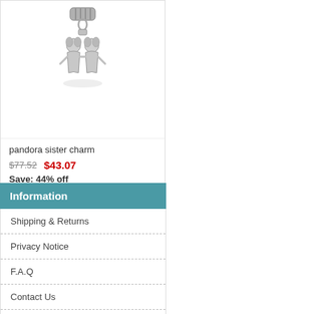[Figure (photo): Silver pandora sister charm dangle bead with two girl figures]
pandora sister charm
$77.52  $43.07
Save: 44% off
Sold:
★★★★★ (1710)  ❤like
Information
Shipping & Returns
Privacy Notice
F.A.Q
Contact Us
Site Map
Gift Certificate FAQ